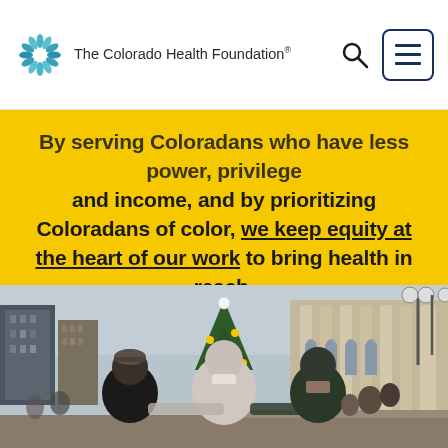The Colorado Health Foundation®
By serving Coloradans who have less power, privilege and income, and by prioritizing Coloradans of color, we keep equity at the heart of our work to bring health in reach.
[Figure (photo): Three people standing together with arms linked, viewed from behind, facing a large stone government building (Colorado State Capitol area) with a decorated Christmas tree and city buildings in the background. The scene appears to be during a social gathering or protest.]